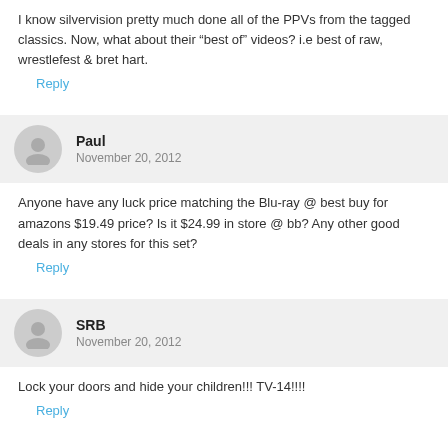I know silvervision pretty much done all of the PPVs from the tagged classics. Now, what about their “best of” videos? i.e best of raw, wrestlefest & bret hart.
Reply
Paul
November 20, 2012
Anyone have any luck price matching the Blu-ray @ best buy for amazons $19.49 price? Is it $24.99 in store @ bb? Any other good deals in any stores for this set?
Reply
SRB
November 20, 2012
Lock your doors and hide your children!!! TV-14!!!!
Reply